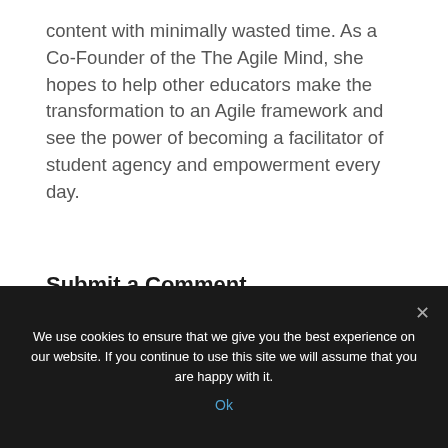content with minimally wasted time. As a Co-Founder of the The Agile Mind, she hopes to help other educators make the transformation to an Agile framework and see the power of becoming a facilitator of student agency and empowerment every day.
Submit a Comment
We use cookies to ensure that we give you the best experience on our website. If you continue to use this site we will assume that you are happy with it.
Ok